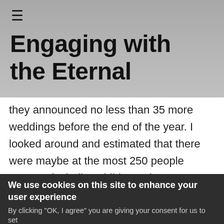≡
Engaging with the Eternal
they announced no less than 35 more weddings before the end of the year. I looked around and estimated that there were maybe at the most 250 people present, including children. That meant that 84 people or a third of the congregation was getting married. 42 weddings and that all within a few months. To me, this didn't make any sense whatsoever.
We use cookies on this site to enhance your user experience
By clicking "OK, I agree" you are giving your consent for us to set